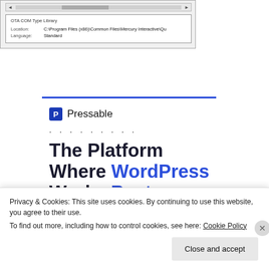[Figure (screenshot): Screenshot of OTA COM Type Library dialog showing Location: C:\Program Files (x86)\Common Files\Mercury Interactive\Qu and Language: Standard]
[Figure (screenshot): Pressable website screenshot showing blue horizontal rule, Pressable logo with P icon, dot separator, and headline 'The Platform Where WordPress Works Best' with a SEE PRICING button]
Privacy & Cookies: This site uses cookies. By continuing to use this website, you agree to their use.
To find out more, including how to control cookies, see here: Cookie Policy
Close and accept